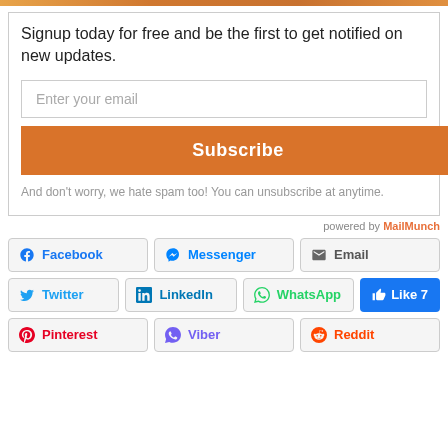[Figure (photo): Narrow orange/nature image strip at top]
Signup today for free and be the first to get notified on new updates.
Enter your email
Subscribe
And don't worry, we hate spam too! You can unsubscribe at anytime.
powered by MailMunch
Facebook
Messenger
Email
Twitter
LinkedIn
WhatsApp
Like 7
Pinterest
Viber
Reddit